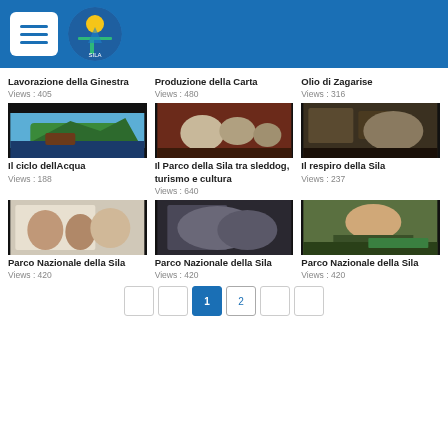Navigation header with hamburger menu and logo
Lavorazione della Ginestra
Views : 405
Produzione della Carta
Views : 480
Olio di Zagarise
Views : 316
[Figure (photo): Video thumbnail – 3D terrain/landscape model]
[Figure (photo): Video thumbnail – wolves/foxes in museum diorama]
[Figure (photo): Video thumbnail – museum sculpture exhibit]
Il ciclo dellAcqua
Views : 188
Il Parco della Sila tra sleddog, turismo e cultura
Views : 640
Il respiro della Sila
Views : 237
[Figure (photo): Video thumbnail – people at an exhibition/event indoors]
[Figure (photo): Video thumbnail – crowd at exhibition, dark tones]
[Figure (photo): Video thumbnail – woman being interviewed on TV]
Parco Nazionale della Sila
Views : 420
Parco Nazionale della Sila
Views : 420
Parco Nazionale della Sila
Views : 420